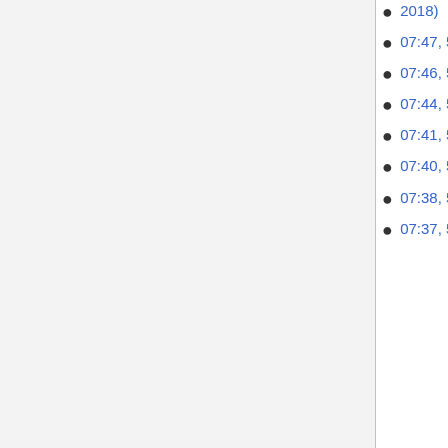2018)
07:47, 5 October 2017 (diff | hist) . . (0) . . Calendari Dibatec 5 (2017-2018)
07:46, 5 October 2017 (diff | hist) . . (-194) . . Calendari Dibatec 5 (2017-2018)
07:44, 5 October 2017 (diff | hist) . . (-237) . . Calendari Dibatec 5 (2017-2018)
07:41, 5 October 2017 (diff | hist) . . (-6) . . m Calendari Dibatec 5 (2017-2018)
07:40, 5 October 2017 (diff | hist) . . (-266) . . Calendari Dibatec 5 (2017-2018)
07:38, 5 October 2017 (diff | hist) . . (+44) . . Calendari Dibatec 5 (2017-2018)
07:37, 5 October 2017 (diff | hist) . . (-7) . . Calendari Dibatec 5 (2017-